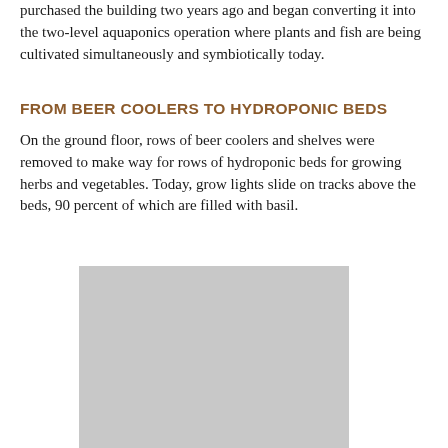purchased the building two years ago and began converting it into the two-level aquaponics operation where plants and fish are being cultivated simultaneously and symbiotically today.
FROM BEER COOLERS TO HYDROPONIC BEDS
On the ground floor, rows of beer coolers and shelves were removed to make way for rows of hydroponic beds for growing herbs and vegetables. Today, grow lights slide on tracks above the beds, 90 percent of which are filled with basil.
[Figure (photo): A gray placeholder image representing a photo of tilapia fish.]
Tilapia are freshwater fish. The more than 100 tilapia species in a range of colors are part of